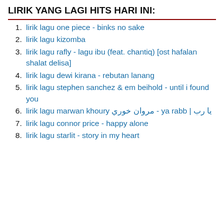LIRIK YANG LAGI HITS HARI INI:
lirik lagu one piece - binks no sake
lirik lagu kizomba
lirik lagu rafly - lagu ibu (feat. chantiq) [ost hafalan shalat delisa]
lirik lagu dewi kirana - rebutan lanang
lirik lagu stephen sanchez & em beihold - until i found you
lirik lagu marwan khoury مروان خوري - ya rabb | يا رب
lirik lagu connor price - happy alone
lirik lagu starlit - story in my heart